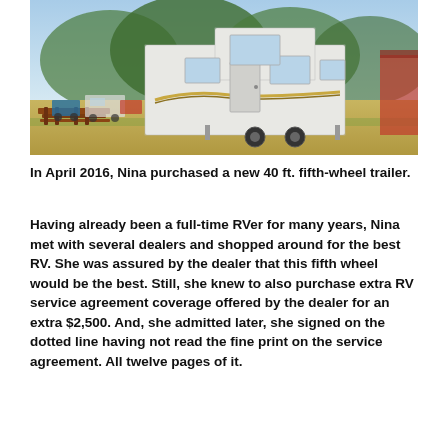[Figure (photo): An outdoor scene showing a large white fifth-wheel trailer/RV parked at an RV campground. A picnic table is visible in the foreground on the left. Trees and mountains are visible in the background. Additional RVs and vehicles are visible in the background.]
In April 2016, Nina purchased a new 40 ft. fifth-wheel trailer.
Having already been a full-time RVer for many years, Nina met with several dealers and shopped around for the best RV. She was assured by the dealer that this fifth wheel would be the best. Still, she knew to also purchase extra RV service agreement coverage offered by the dealer for an extra $2,500. And, she admitted later, she signed on the dotted line having not read the fine print on the service agreement. All twelve pages of it.